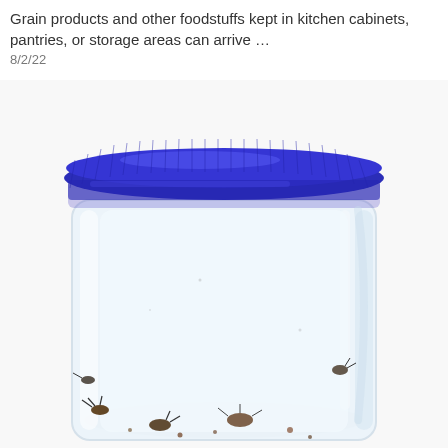Grain products and other foodstuffs kept in kitchen cabinets, pantries, or storage areas can arrive …
8/2/22
[Figure (photo): A clear plastic storage jar with a blue ribbed screw-on lid, viewed from slightly above. The jar is nearly empty but contains some small dark insects and debris at the bottom, visible through the transparent walls.]